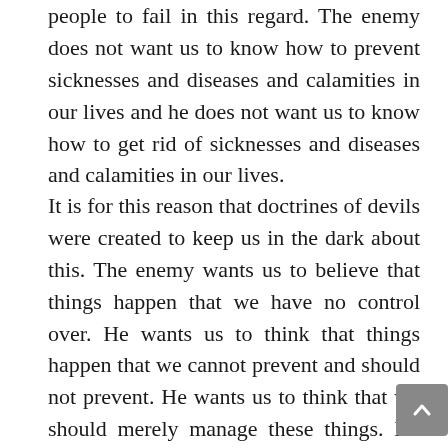people to fail in this regard. The enemy does not want us to know how to prevent sicknesses and diseases and calamities in our lives and he does not want us to know how to get rid of sicknesses and diseases and calamities in our lives.
It is for this reason that doctrines of devils were created to keep us in the dark about this. The enemy wants us to believe that things happen that we have no control over. He wants us to think that things happen that we cannot prevent and should not prevent. He wants us to think that we should merely manage these things. He wants us to think that we can do nothing to restore ourselves. He wants us to think that we are completely innocent and just victims of circumstances and situations in